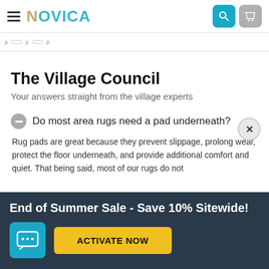NOVICA
The Village Council
Your answers straight from the village experts
Do most area rugs need a pad underneath?
Rug pads are great because they prevent slippage, prolong wear, protect the floor underneath, and provide additional comfort and quiet. That being said, most of our rugs do not
End of Summer Sale - Save 10% Sitewide!
ACTIVATE NOW